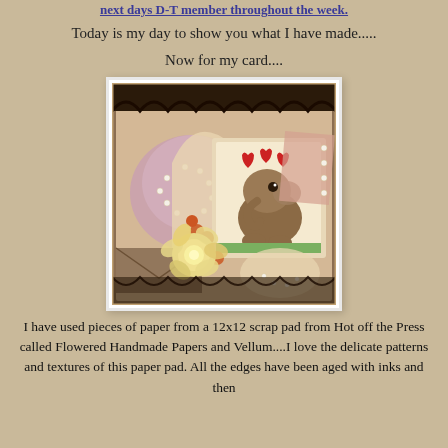next days D-T member throughout the week.
Today is my day to show you what I have made.....
Now for my card....
[Figure (photo): Handmade greeting card with decorative papers, ribbon, flowers (orange roses and cream rose), pearl embellishments, lace trim, and a stamped image of a cute elephant with red hearts in the center.]
I have used pieces of paper from a 12x12 scrap pad from Hot off the Press called Flowered Handmade Papers and Vellum....I love the delicate patterns and textures of this paper pad. All the edges have been aged with inks and then